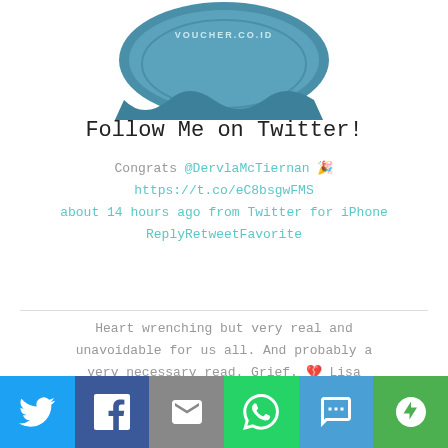[Figure (illustration): Partial view of a teal/blue badge/seal with text VOUCHER.CO.ID at the top of the page]
Follow Me on Twitter!
Congrats @DervlaMcTiernan 🎉 https://t.co/eC8bsgwFMS about 14 hours ago from Twitter for iPhone ReplyRetweetFavorite
Heart wrenching but very real and unavoidable for us all. And probably a very necessary read. Grief. 💔 Lisa Marie P… https://t.co/eGUevKKSZN 01:25:16 PM August 31, 2022 from Twitter Web App ReplyRetweetFavorite
[Figure (infographic): Social sharing bar at the bottom with Twitter, Facebook, Email, WhatsApp, SMS, and More buttons]